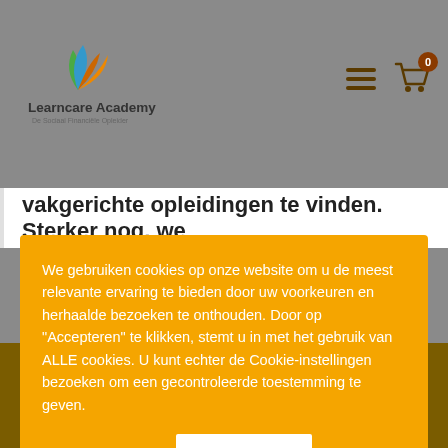[Figure (logo): Learncare Academy logo with colorful leaf/book icon and tagline 'De Sociaal Financiële Opleider']
vakgerichte opleidingen te vinden. Sterker nog, we
We gebruiken cookies op onze website om u de meest relevante ervaring te bieden door uw voorkeuren en herhaalde bezoeken te onthouden. Door op "Accepteren" te klikken, stemt u in met het gebruik van ALLE cookies. U kunt echter de Cookie-instellingen bezoeken om een gecontroleerde toestemming te geven.
Cookie settings
Accepteren
Blijf op de hoogte